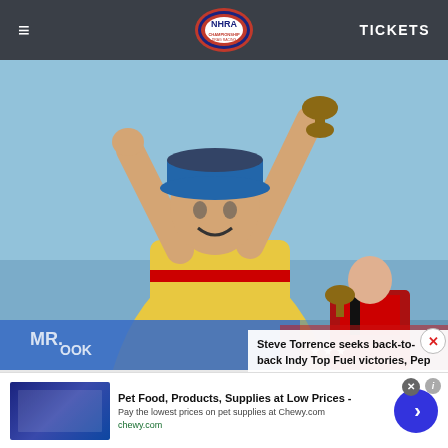≡   NHRA   TICKETS
[Figure (photo): Person in yellow shirt and cap raising both arms in celebration, holding a trophy. In the lower portion, two people including one in red and black racing suit holding a trophy, in front of banners.]
Steve Torrence seeks back-to-back Indy Top Fuel victories, Pep Boys Callout win
[Figure (screenshot): Advertisement banner: Pet food image on left, text 'Pet Food, Products, Supplies at Low Prices -', 'Pay the lowest prices on pet supplies at Chewy.com', 'chewy.com', with a blue arrow button on the right.]